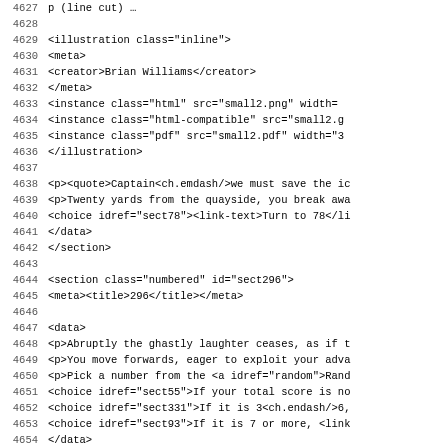Code listing lines 4627-4659 showing XML source for a gamebook, including illustration, section, data, and choice elements.